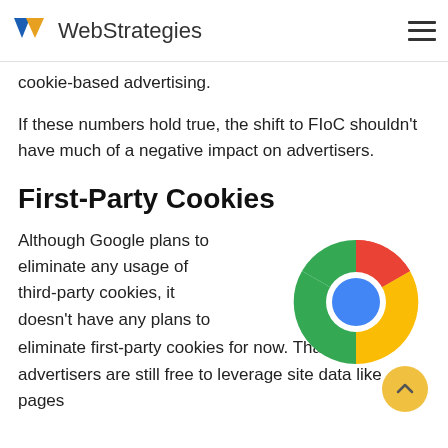WebStrategies
cookie-based advertising.
If these numbers hold true, the shift to FIoC shouldn't have much of a negative impact on advertisers.
First-Party Cookies
Although Google plans to eliminate any usage of third-party cookies, it doesn't have any plans to eliminate first-party cookies for now. That means advertisers are still free to leverage site data like pages
[Figure (logo): Google Chrome logo - circular icon with red top segment, green lower-left segment, yellow lower-right segment, white ring, and blue circle center]
[Figure (other): Yellow circular scroll-to-top button with upward arrow]